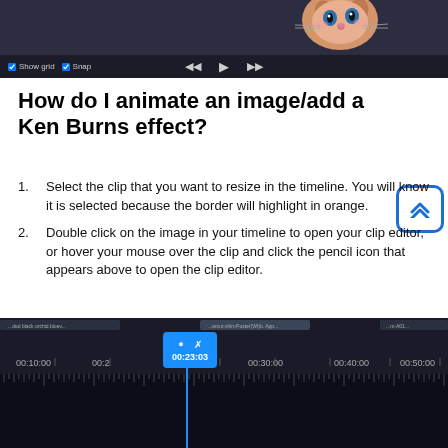[Figure (screenshot): Top portion of a video/animation editor interface showing a cartoon cat character in the preview area, with a dark toolbar containing Show grid, Snap checkboxes and playback controls (previous, play, next buttons)]
How do I animate an image/add a Ken Burns effect?
Select the clip that you want to resize in the timeline. You will know it is selected because the border will highlight in orange.
Double click on the image in your timeline to open your clip editor, or hover your mouse over the clip and click the pencil icon that appears above to open the clip editor.
[Figure (screenshot): Bottom portion of a video editor timeline interface showing a dark timeline with a blue playhead cursor at position 00:23:03. Time markers visible: 00:10:00, 00:20:00 (partially), 00:23:03 (cursor), 00:30:00, 00:40:00, 00:50:00, and partial marker at right. Tick marks along the bottom ruler.]